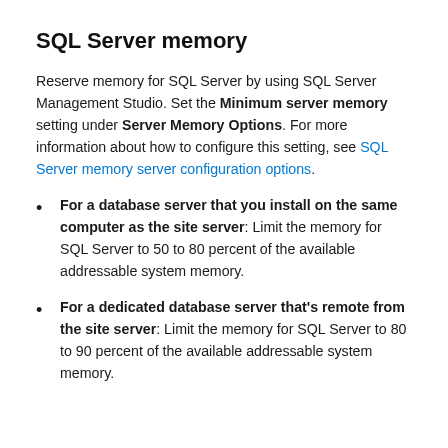SQL Server memory
Reserve memory for SQL Server by using SQL Server Management Studio. Set the Minimum server memory setting under Server Memory Options. For more information about how to configure this setting, see SQL Server memory server configuration options.
For a database server that you install on the same computer as the site server: Limit the memory for SQL Server to 50 to 80 percent of the available addressable system memory.
For a dedicated database server that's remote from the site server: Limit the memory for SQL Server to 80 to 90 percent of the available addressable system memory.